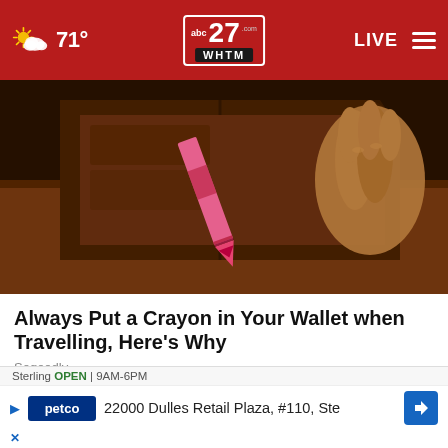abc27 WHTM | 71° | LIVE
[Figure (photo): Close-up photo of a hand holding an open wallet with a pink/red crayon inside]
Always Put a Crayon in Your Wallet when Travelling, Here's Why
Sogoodly
[Figure (photo): Photo showing feet/ankles with pink sandals and a chain anklet, with dark denim shorts visible]
Sterling OPEN | 9AM-6PM
22000 Dulles Retail Plaza, #110, Ste